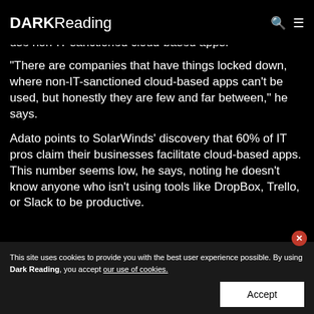DARK Reading
use non-IT-sanctioned cloud-based apps.
"There are companies that have things locked down, where non-IT-sanctioned cloud-based apps can't be used, but honestly they are few and far between," he says.
Adato points to SolarWinds' discovery that 60% of IT pros claim their businesses facilitate cloud-based apps. This number seems low, he says, noting he doesn't know anyone who isn't using tools like DropBox, Trello, or Slack to be productive.
This site uses cookies to provide you with the best user experience possible. By using Dark Reading, you accept our use of cookies.